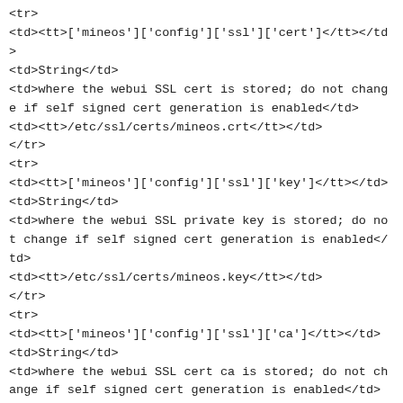<tr>
<td><tt>['mineos']['config']['ssl']['cert']</tt></td>
<td>String</td>
<td>where the webui SSL cert is stored; do not change if self signed cert generation is enabled</td>
<td><tt>/etc/ssl/certs/mineos.crt</tt></td>
</tr>
<tr>
<td><tt>['mineos']['config']['ssl']['key']</tt></td>
<td>String</td>
<td>where the webui SSL private key is stored; do not change if self signed cert generation is enabled</td>
<td><tt>/etc/ssl/certs/mineos.key</tt></td>
</tr>
<tr>
<td><tt>['mineos']['config']['ssl']['ca']</tt></td>
<td>String</td>
<td>where the webui SSL cert ca is stored; do not change if self signed cert generation is enabled</td>
<td><tt><empty></tt></td>
</tr>
<tr>
<td><tt>['mineos']['config']['ssl']['chain']</tt></td>